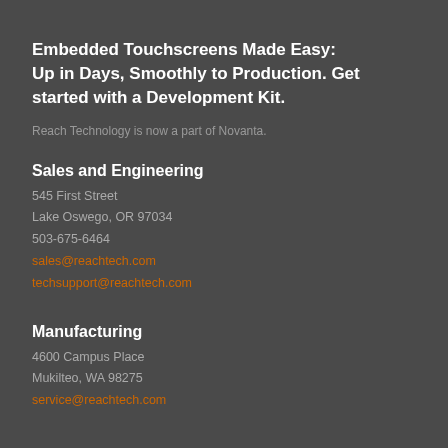Embedded Touchscreens Made Easy: Up in Days, Smoothly to Production. Get started with a Development Kit.
Reach Technology is now a part of Novanta.
Sales and Engineering
545 First Street
Lake Oswego, OR 97034
503-675-6464
sales@reachtech.com
techsupport@reachtech.com
Manufacturing
4600 Campus Place
Mukilteo, WA 98275
service@reachtech.com